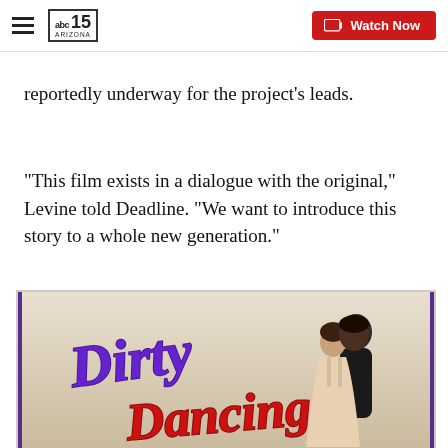abc15 ARIZONA — Watch Now
reportedly underway for the project's leads.
“This film exists in a dialogue with the original,” Levine told Deadline. “We want to introduce this story to a whole new generation.”
[Figure (photo): Dirty Dancing movie poster showing the iconic logo in purple and red script lettering with a couple dancing in an embrace on the right side]